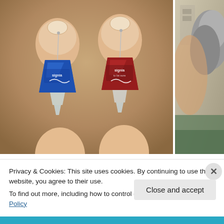[Figure (photo): Two small in-ear hearing aids (Signia brand) held between fingers — one blue (left) and one red/maroon (right), each with a thin wire antenna on top and a clear plastic removal tab at the bottom. Beige/neutral background.]
[Figure (photo): Partial side photo showing the side of a person's head with gray hair, partially cropped.]
Privacy & Cookies: This site uses cookies. By continuing to use this website, you agree to their use.
To find out more, including how to control cookies, see here: Cookie Policy